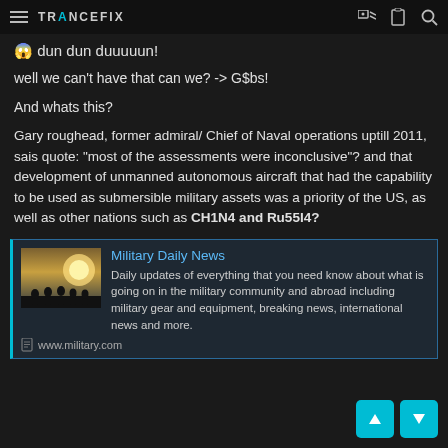TRANCEFIX
😱 dun dun duuuuun!
well we can't have that can we? -> G$bs!
And whats this?
Gary roughead, former admiral/ Chief of Naval operations uptill 2011, sais quote: "most of the assessments were inconclusive"? and that development of unmanned autonomous aircraft that had the capability to be used as submersible military assets was a priority of the US, as well as other nations such as CH1N4 and Ru55I4?
[Figure (screenshot): Military Daily News link card with thumbnail showing silhouetted soldiers against a bright sky, title 'Military Daily News', description text, and www.military.com URL]